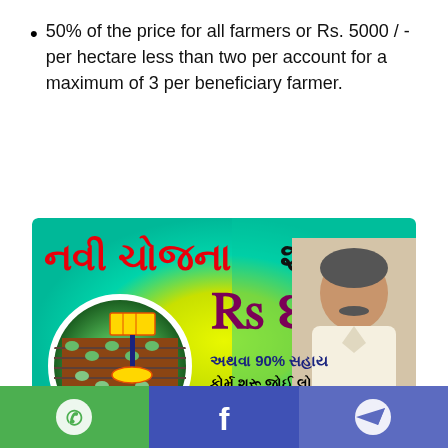50% of the price for all farmers or Rs. 5000 / - per hectare less than two per account for a maximum of 3 per beneficiary farmer.
[Figure (infographic): Gujarati language promotional banner for solar light trap scheme showing text in Gujarati script, a circular image of solar light traps in a farm field, a government official's photo, the amount Rs. 4500 or 90% subsidy offer, and i_khedut branding at the bottom]
[Figure (infographic): Social sharing bar at the bottom with three icons: WhatsApp (green), Facebook (blue), and Telegram (blue)]